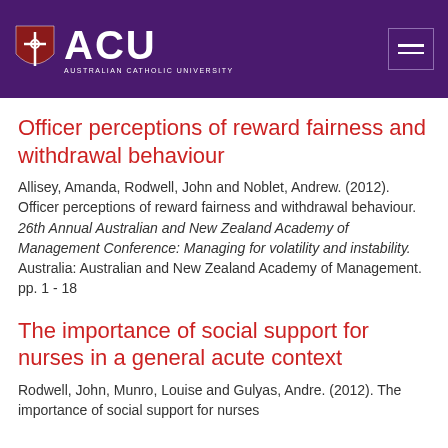ACU - Australian Catholic University
Officer perceptions of reward fairness and withdrawal behaviour
Allisey, Amanda, Rodwell, John and Noblet, Andrew. (2012). Officer perceptions of reward fairness and withdrawal behaviour. 26th Annual Australian and New Zealand Academy of Management Conference: Managing for volatility and instability. Australia: Australian and New Zealand Academy of Management. pp. 1 - 18
The importance of social support for nurses in a general acute context
Rodwell, John, Munro, Louise and Gulyas, Andre. (2012). The importance of social support for nurses